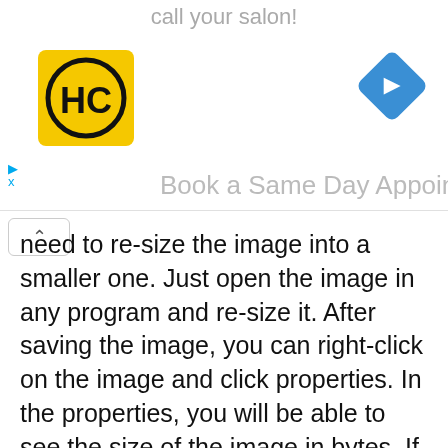call your salon!
[Figure (logo): HC logo — yellow square with black circle and HC letters]
[Figure (other): Blue diamond navigation arrow icon]
Book a Same Day Appointment
need to re-size the image into a smaller one. Just open the image in any program and re-size it. After saving the image, you can right-click on the image and click properties. In the properties, you will be able to see the size of the image in bytes. If it is still too large, re-size it once again and save it.
Sometimes, a website thumbnail can only be in .png or .jpeg format. If the image is in a different format, you might have to re-save it in one of the accepted formats. These options are available when you go to "save